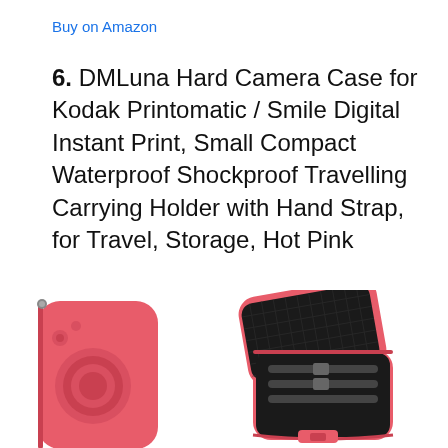Buy on Amazon
6. DMLuna Hard Camera Case for Kodak Printomatic / Smile Digital Instant Print, Small Compact Waterproof Shockproof Travelling Carrying Holder with Hand Strap, for Travel, Storage, Hot Pink
[Figure (photo): Two views of a hot pink hard camera case: left shows the case closed with embossed camera lens design, right shows the case open revealing black mesh interior with elastic straps]